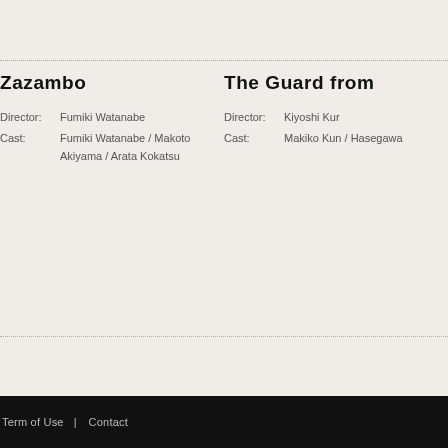Zazambo
Director: Fumiki Watanabe
Cast: Fumiki Watanabe / Makoto Akiyama / Arata Kokatsu
The Guard from
Director: Kiyoshi Kur
Cast: Makiko Kun / Hasegawa
Term of Use | Contact